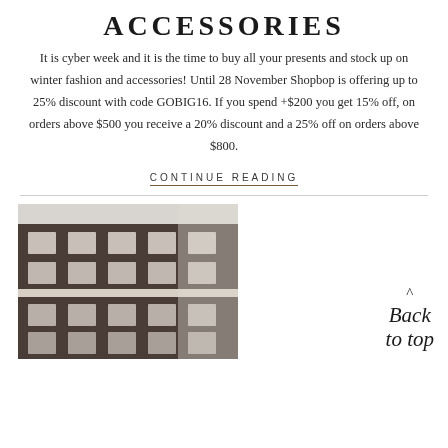ACCESSORIES
It is cyber week and it is the time to buy all your presents and stock up on winter fashion and accessories! Until 28 November Shopbop is offering up to 25% discount with code GOBIG16. If you spend +$200 you get 15% off, on orders above $500 you receive a 20% discount and a 25% off on orders above $800.
CONTINUE READING
[Figure (photo): Black and white photograph of a multi-storey brick building facade with multiple windows, viewed from a low angle.]
Back to top